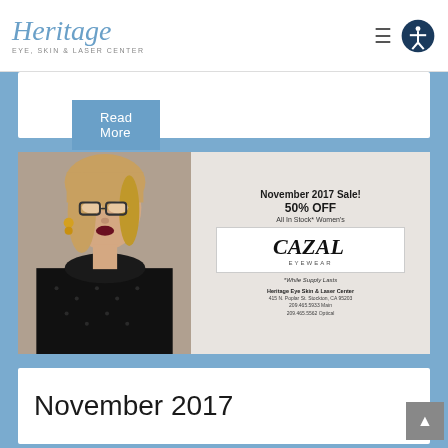[Figure (logo): Heritage Eye, Skin & Laser Center logo with italic script text and accessibility icon]
Read More
[Figure (photo): November 2017 Sale advertisement showing a woman wearing Cazal eyeglasses, 50% OFF all in stock women's Cazal Eyewear. *While Supply Lasts. Heritage Eye Skin & Laser Center, 415 N. Poplar St. Stockton, CA 95203, 209.465.5933 Main, 209.465.5562 Optical]
November 2017